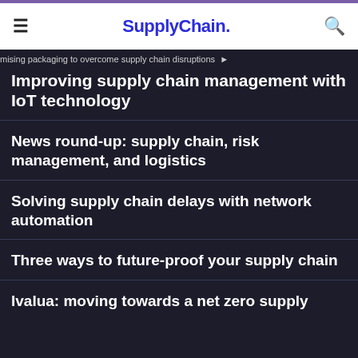SupplyChain.
mising packaging to overcome supply chain disruptions
Improving supply chain management with IoT technology
News round-up: supply chain, risk management, and logistics
Solving supply chain delays with network automation
Three ways to future-proof your supply chain
Ivalua: moving towards a net zero supply